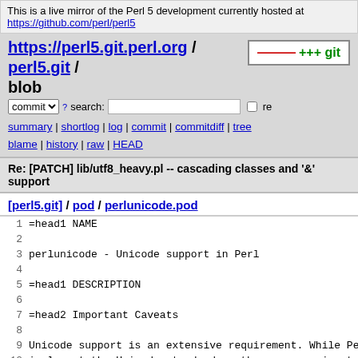This is a live mirror of the Perl 5 development currently hosted at https://github.com/perl/perl5
https://perl5.git.perl.org / perl5.git / blob
commit search: re
summary | shortlog | log | commit | commitdiff | tree blame | history | raw | HEAD
Re: [PATCH] lib/utf8_heavy.pl -- cascading classes and '&' support
[perl5.git] / pod / perlunicode.pod
1  =head1 NAME
2
3  perlunicode - Unicode support in Perl
4
5  =head1 DESCRIPTION
6
7  =head2 Important Caveats
8
9  Unicode support is an extensive requirement. While Perl
10 implement the Unicode standard or the accompanying tech
11 from cover to cover, Perl does support many Unicode fea
12
13 =over 4
14
15 =item Input and Output Layers
16
17 Perl knows when a filehandle uses Perl's internal Unic